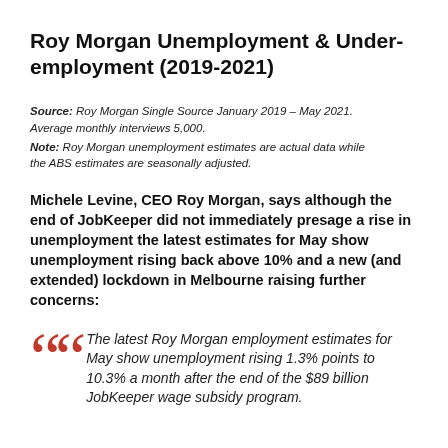Roy Morgan Unemployment & Under-employment (2019-2021)
Source: Roy Morgan Single Source January 2019 – May 2021. Average monthly interviews 5,000. Note: Roy Morgan unemployment estimates are actual data while the ABS estimates are seasonally adjusted.
Michele Levine, CEO Roy Morgan, says although the end of JobKeeper did not immediately presage a rise in unemployment the latest estimates for May show unemployment rising back above 10% and a new (and extended) lockdown in Melbourne raising further concerns:
The latest Roy Morgan employment estimates for May show unemployment rising 1.3% points to 10.3% a month after the end of the $89 billion JobKeeper wage subsidy program.